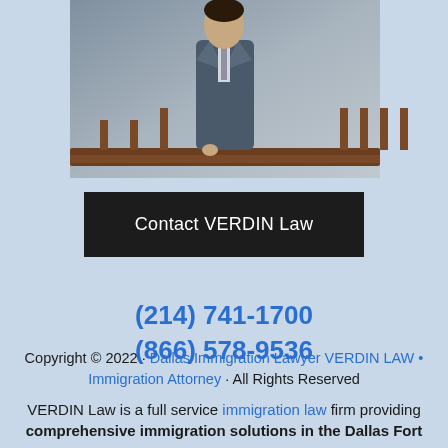[Figure (photo): Professional photo of an attorney in a dark suit standing near a wooden railing, likely inside a courthouse or law office]
Contact VERDIN Law
(214) 741-1700
(866) 578-9536
Copyright © 2022 · Dallas Immigration Lawyer VERDIN LAW • Immigration Attorney · All Rights Reserved
VERDIN Law is a full service immigration law firm providing comprehensive immigration solutions in the Dallas Fort